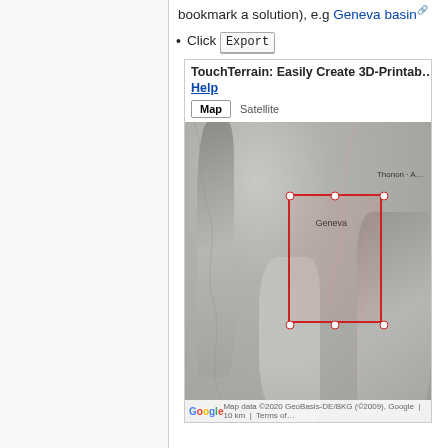bookmark a solution), e.g Geneva basin
Click Export
[Figure (screenshot): Screenshot of TouchTerrain web application showing a Google Maps terrain view of the Geneva basin area with a red selection rectangle drawn over the Geneva region. The map shows terrain relief shading. Map/Satellite tab buttons are visible. Google logo and map data attribution visible at bottom.]